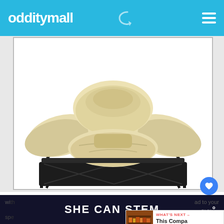odditymall
[Figure (photo): An auto-inflating air bed/chair viewed from the front, showing cream/beige inflated cushion sections on a black metal folding frame with a storage bag underneath]
The auto inflating air bed also features an auto shut off feature that lets you set your own comfort level of the bed. So it'll automatically shut off at three different levels: plush, medium, and firm. This allows you to reach your desired comfort level with ease,
SHE CAN STEM